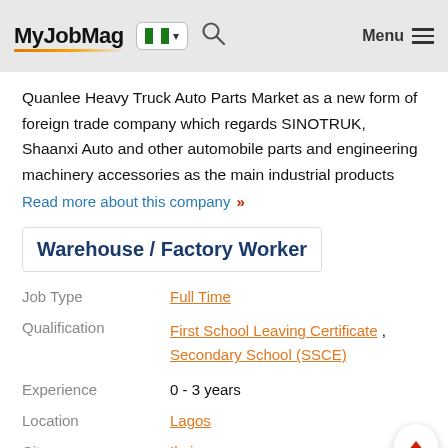MyJobMag | Menu
Quanlee Heavy Truck Auto Parts Market as a new form of foreign trade company which regards SINOTRUK, Shaanxi Auto and other automobile parts and engineering machinery accessories as the main industrial products
Read more about this company »
Warehouse / Factory Worker
| Field | Value |
| --- | --- |
| Job Type | Full Time |
| Qualification | First School Leaving Certificate , Secondary School (SSCE) |
| Experience | 0 - 3 years |
| Location | Lagos |
| City | Ikoja |